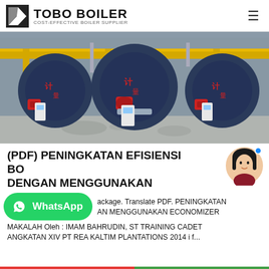TOBO BOILER — COST-EFFECTIVE BOILER SUPPLIER
[Figure (photo): Industrial boiler room with three large horizontal cylindrical boilers in dark blue/grey color, connected by yellow overhead pipes, with control panels and red burners visible on the front.]
(PDF) PENINGKATAN EFISIENSI BO... DENGAN MENGGUNAKAN
...ackage. Translate PDF. PENINGKATAN ...AN MENGGUNAKAN ECONOMIZER MAKALAH Oleh : IMAM BAHRUDIN, ST TRAINING CADET ANGKATAN XIV PT REA KALTIM PLANTATIONS 2014 i f...